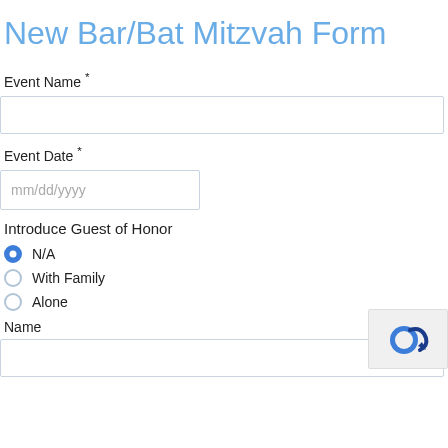New Bar/Bat Mitzvah Form
Event Name *
Event Date *
mm/dd/yyyy
Introduce Guest of Honor
N/A
With Family
Alone
Name
[Figure (logo): reCAPTCHA logo widget showing a dark blue arrow symbol on a light grey background]